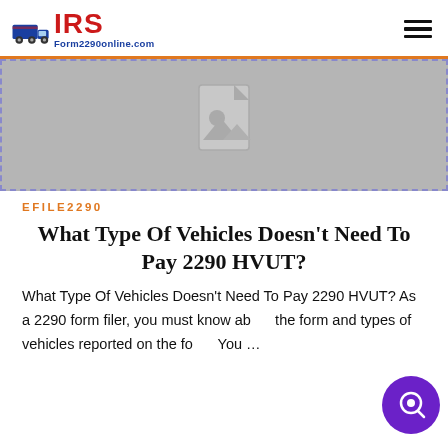IRS Form2290online.com
[Figure (illustration): Placeholder image with a document/image icon on a grey background with dashed blue border]
EFILE2290
What Type Of Vehicles Doesn't Need To Pay 2290 HVUT?
What Type Of Vehicles Doesn't Need To Pay 2290 HVUT? As a 2290 form filer, you must know about the form and types of vehicles reported on the form. You …